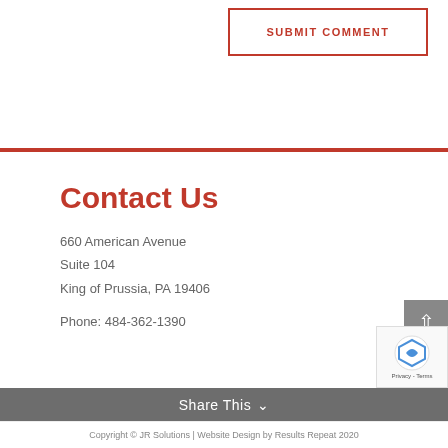SUBMIT COMMENT
Contact Us
660 American Avenue
Suite 104
King of Prussia, PA 19406
Phone: 484-362-1390
Share This
Copyright © JR Solutions | Website Design by Results Repeat 2020